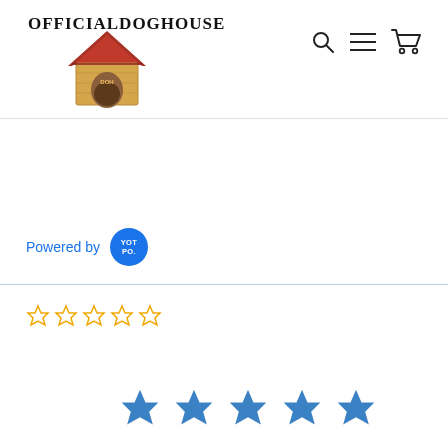OFFICIALDOGHOUSE
[Figure (logo): Dog house cartoon logo illustration - wooden house with red roof]
[Figure (other): Navigation icons: search (magnifying glass), menu (hamburger lines), cart (shopping cart)]
Powered by YOTPO.
[Figure (other): Five empty/outline star rating icons in gold/yellow color]
[Figure (other): Five filled blue star icons]